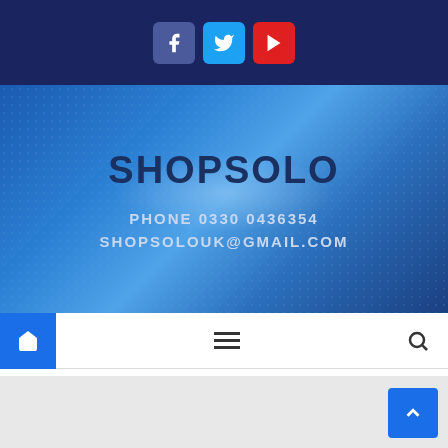[Figure (screenshot): Social media icon buttons: Facebook (purple-blue), Twitter (blue), YouTube (red)]
SHOPSOLO
PHONE 0330 0436354
SHOPSOLOUK@GMAIL.COM
[Figure (screenshot): Navigation bar with home icon button (blue), hamburger menu icon, and search icon]
CB RADIO SHOP